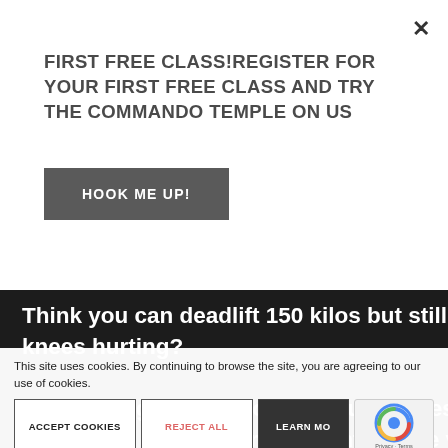FIRST FREE CLASS!REGISTER FOR YOUR FIRST FREE CLASS AND TRY THE COMMANDO TEMPLE ON US
HOOK ME UP!
Think you can deadlift 150 kilos but still can't crawl without your knees hurting?

Then we'll get to the root of your niggles, aches and pains before taking you any further. We want to take you on a strength and fitness journey that will challenge you and help you become the strongest, leanest, fittest version of yourself; improve your movement, build stronger, longer lasting muscles.
This site uses cookies. By continuing to browse the site, you are agreeing to our use of cookies.
ACCEPT COOKIES
REJECT ALL
LEARN MORE